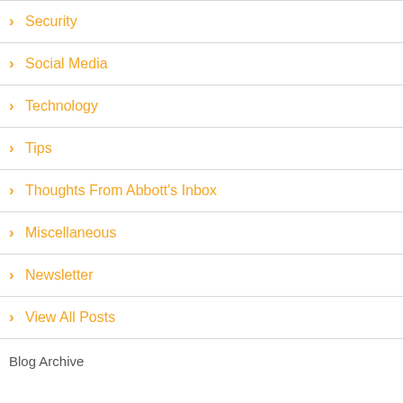Security
Social Media
Technology
Tips
Thoughts From Abbott's Inbox
Miscellaneous
Newsletter
View All Posts
Blog Archive